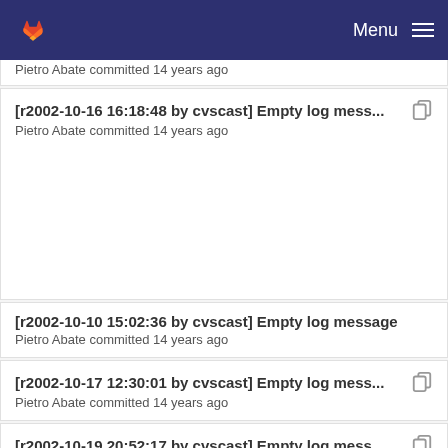Menu
Pietro Abate committed 14 years ago
[r2002-10-16 16:18:48 by cvscast] Empty log mess...
Pietro Abate committed 14 years ago
[r2002-10-10 15:02:36 by cvscast] Empty log message
Pietro Abate committed 14 years ago
[r2002-10-17 12:30:01 by cvscast] Empty log mess...
Pietro Abate committed 14 years ago
[r2002-10-19 20:52:17 by cvscast] Empty log mess...
Pietro Abate committed 14 years ago
[r2002-10-16 16:18:48 by cvscast] Empty log mess...
Pietro Abate committed 14 years ago